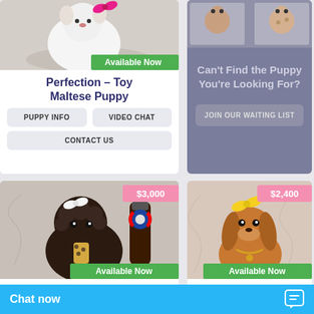[Figure (photo): Small fluffy puppy in pink bow on white background with 'Available Now' green badge]
Perfection – Toy Maltese Puppy
PUPPY INFO | VIDEO CHAT | CONTACT US
[Figure (photo): Can't Find the Puppy You're Looking For? section with JOIN OUR WAITING LIST button on purple/grey background]
Can't Find the Puppy You're Looking For?
JOIN OUR WAITING LIST
[Figure (photo): Dark fluffy Shih Tzu puppy with bow and leopard tie next to Pepsi bottle, price $3,000, Available Now badge]
$3,000
[Figure (photo): Tan Dachshund puppy with yellow bow and gold accessories, price $2,400, Available Now badge]
$2,400
Cocomelon – Toy Sh... Tzu Puppy
Chat now